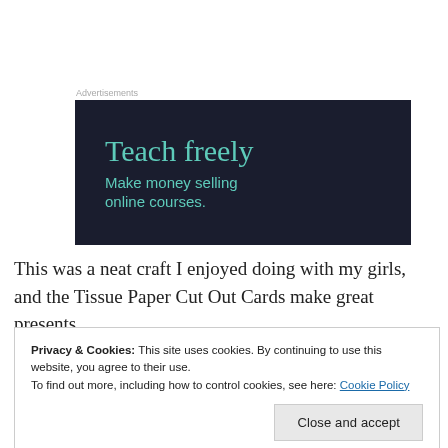[Figure (infographic): Dark-background advertisement banner reading 'Teach freely / Make money selling online courses.' in teal/green text on a near-black background.]
This was a neat craft I enjoyed doing with my girls, and the Tissue Paper Cut Out Cards make great presents.
Privacy & Cookies: This site uses cookies. By continuing to use this website, you agree to their use.
To find out more, including how to control cookies, see here: Cookie Policy
Close and accept